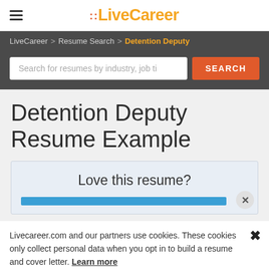LiveCareer
LiveCareer > Resume Search > Detention Deputy
Search for resumes by industry, job ti
Detention Deputy Resume Example
Love this resume?
Livecareer.com and our partners use cookies. These cookies only collect personal data when you opt in to build a resume and cover letter. Learn more